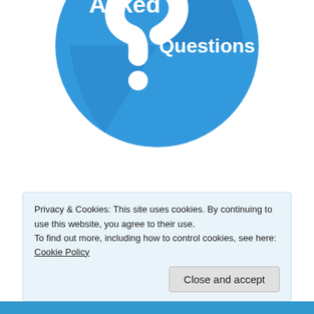[Figure (illustration): Blue circle icon with large question mark, text 'Asked' on the left and 'Questions' on the right, partially cropped at top]
[Figure (illustration): Teal/blue circle icon with text 'Testimonials' and a row of stars on a tablet/screen graphic, partially visible at bottom]
Privacy & Cookies: This site uses cookies. By continuing to use this website, you agree to their use.
To find out more, including how to control cookies, see here: Cookie Policy
Close and accept